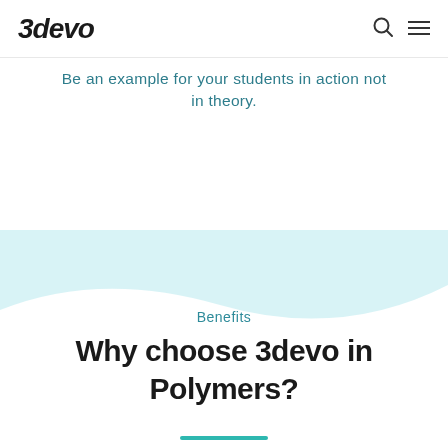3devo
Be an example for your students in action not in theory.
Benefits
Why choose 3devo in Polymers?